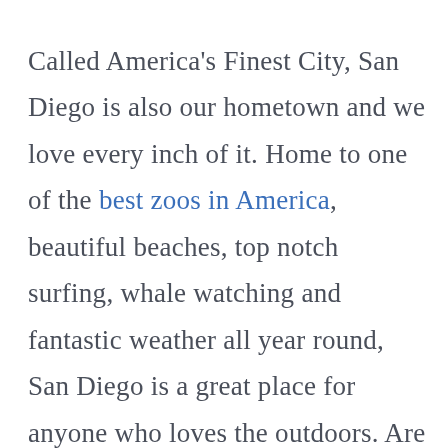Called America's Finest City, San Diego is also our hometown and we love every inch of it. Home to one of the best zoos in America, beautiful beaches, top notch surfing, whale watching and fantastic weather all year round, San Diego is a great place for anyone who loves the outdoors. Are you a foodie? San Diego has some great places to eat and even has close access to some excellent wineries. And if you have a passport and are up for a fun